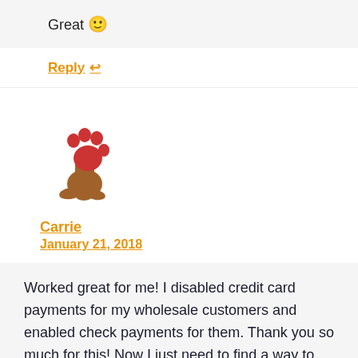Great 🙂
Reply ↩
[Figure (logo): Paw print logo with brown tree/leg shape and red paw on top]
Carrie
January 21, 2018
Worked great for me! I disabled credit card payments for my wholesale customers and enabled check payments for them. Thank you so much for this! Now I just need to find a way to